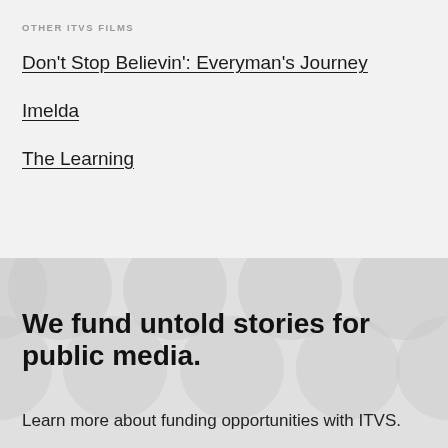OTHER ITVS FILMS
Don't Stop Believin': Everyman's Journey
Imelda
The Learning
We fund untold stories for public media.
Learn more about funding opportunities with ITVS.